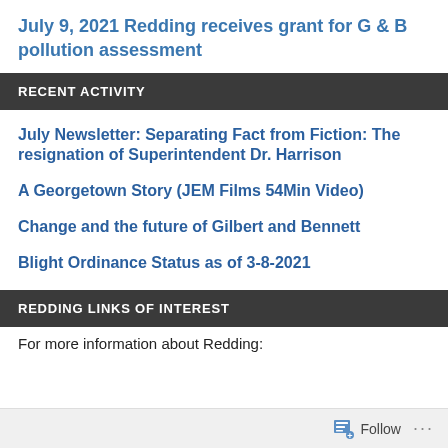July 9, 2021 Redding receives grant for G & B pollution assessment
RECENT ACTIVITY
July Newsletter: Separating Fact from Fiction: The resignation of Superintendent Dr. Harrison
A Georgetown Story (JEM Films 54Min Video)
Change and the future of Gilbert and Bennett
Blight Ordinance Status as of 3-8-2021
REDDING LINKS OF INTEREST
For more information about Redding: